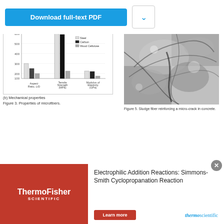[Figure (bar-chart): Mechanical properties]
(b) Mechanical properties
Figure 3. Properties of microfibers.
[Figure (photo): SEM micrograph of sludge fiber reinforcing a micro-crack in concrete]
Figure 5. Sludge fiber reinforcing a micro-crack in concrete.
6.13 Resource conservation
The production of one ton of portland cement generates approximately one ton of green-house gases (GHGs), such as CO2 and NOX and requires 1.6 tons of raw materials. These materials are primarily good quality limestone and clay. Therefore, for 1.6 billion tons of cement produced annually, we need about 2.5 billion tons of raw materials. The mining of these raw materials...
consume a lot of energy besides leaving damaging footprints on the ecology of riverbeds and forested areas." [Mehta 2004]. At more than 450 million tons per year, the construction and demolition waste (C&DW) stream constitutes the largest waste stream in quantitative terms within the European Union, apart from mining waste [European Commission 2000]. If one excludes earth and excavated road material, the